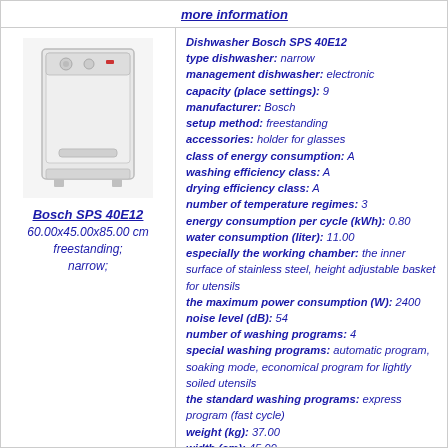more information
[Figure (photo): Photo of Bosch SPS 40E12 dishwasher, white freestanding narrow model]
Bosch SPS 40E12
60.00x45.00x85.00 cm
freestanding;
narrow;
Dishwasher Bosch SPS 40E12
type dishwasher: narrow
management dishwasher: electronic
capacity (place settings): 9
manufacturer: Bosch
setup method: freestanding
accessories: holder for glasses
class of energy consumption: A
washing efficiency class: A
drying efficiency class: A
number of temperature regimes: 3
energy consumption per cycle (kWh): 0.80
water consumption (liter): 11.00
especially the working chamber: the inner surface of stainless steel, height adjustable basket for utensils
the maximum power consumption (W): 2400
noise level (dB): 54
number of washing programs: 4
special washing programs: automatic program, soaking mode, economical program for lightly soiled utensils
the standard washing programs: express program (fast cycle)
weight (kg): 37.00
width (cm): 45.00
depth (cm): 60.00
height (cm): 85.00
protection against leaks